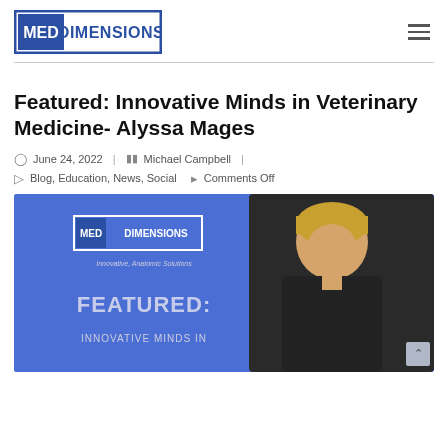MED DIMENSIONS
Featured: Innovative Minds in Veterinary Medicine- Alyssa Mages
June 24, 2022 | Michael Campbell |
Blog, Education, News, Social  Comments Off
[Figure (photo): Med Dimensions branded promotional image featuring 'Featured: Innovative Minds In' text on a blue background with a photo of a smiling blonde woman in dark scrubs on the right side]